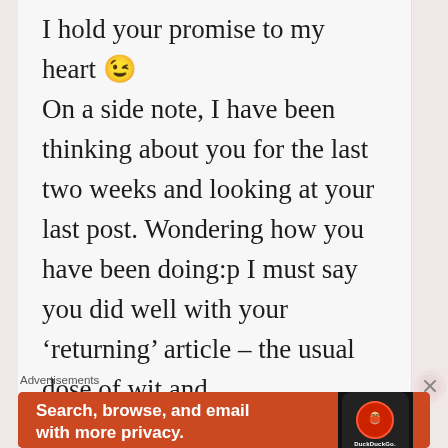I hold your promise to my heart 😉 On a side note, I have been thinking about you for the last two weeks and looking at your last post. Wondering how you have been doing:p I must say you did well with your 'returning' article – the usual dose of wit and
Advertisements
[Figure (screenshot): DuckDuckGo advertisement banner with orange background. Text: 'Search, browse, and email with more privacy. All in One Free App'. Shows a phone mockup with DuckDuckGo logo and branding.]